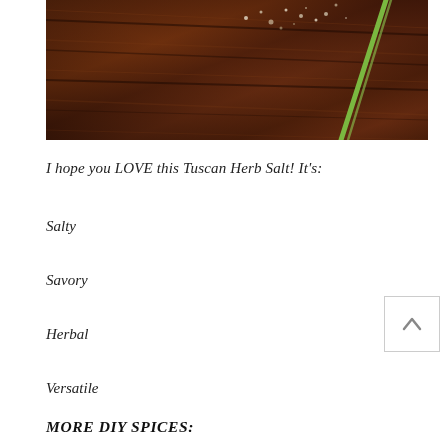[Figure (photo): Close-up photo of a dark wood cutting board with herbs and salt, with a green herb stem visible in the lower right corner.]
I hope you LOVE this Tuscan Herb Salt! It's:
Salty
Savory
Herbal
Versatile
MORE DIY SPICES: